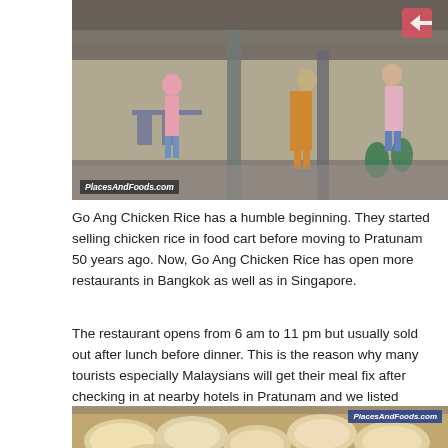[Figure (photo): Street food restaurant scene with people walking and dining at outdoor tables. Watermark: PlacesAndFoods.com]
Go Ang Chicken Rice has a humble beginning. They started selling chicken rice in food cart before moving to Pratunam 50 years ago. Now, Go Ang Chicken Rice has open more restaurants in Bangkok as well as in Singapore.
The restaurant opens from 6 am to 11 pm but usually sold out after lunch before dinner. This is the reason why many tourists especially Malaysians will get their meal fix after checking in at nearby hotels in Pratunam and we listed down top 20 Pratunam hotels nearby.
[Figure (photo): Close-up photo of raw chicken pieces in a tray. Watermark: PlacesAndFoods.com]